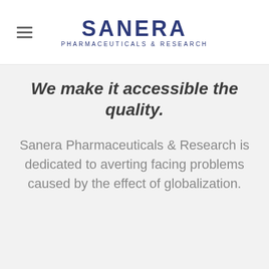SANERA PHARMACEUTICALS & RESEARCH
We make it accessible the quality.
Sanera Pharmaceuticals & Research is dedicated to averting facing problems caused by the effect of globalization.